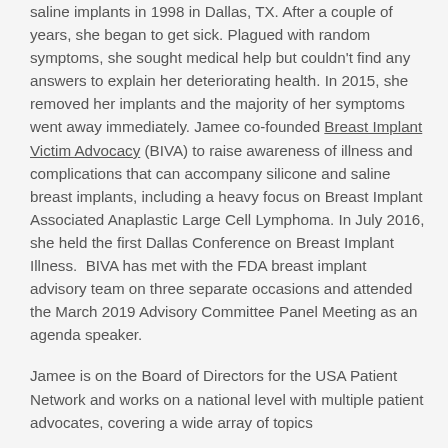saline implants in 1998 in Dallas, TX. After a couple of years, she began to get sick. Plagued with random symptoms, she sought medical help but couldn't find any answers to explain her deteriorating health. In 2015, she removed her implants and the majority of her symptoms went away immediately. Jamee co-founded Breast Implant Victim Advocacy (BIVA) to raise awareness of illness and complications that can accompany silicone and saline breast implants, including a heavy focus on Breast Implant Associated Anaplastic Large Cell Lymphoma. In July 2016, she held the first Dallas Conference on Breast Implant Illness.  BIVA has met with the FDA breast implant advisory team on three separate occasions and attended the March 2019 Advisory Committee Panel Meeting as an agenda speaker.
Jamee is on the Board of Directors for the USA Patient Network and works on a national level with multiple patient advocates, covering a wide array of topics